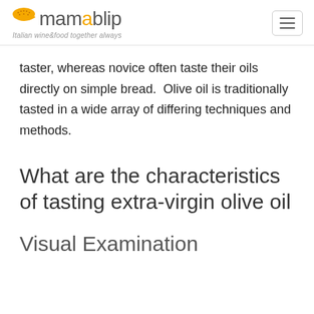mamablip — Italian wine&food together always
taster, whereas novice often taste their oils directly on simple bread.  Olive oil is traditionally tasted in a wide array of differing techniques and methods.
What are the characteristics of tasting extra-virgin olive oil
Visual Examination